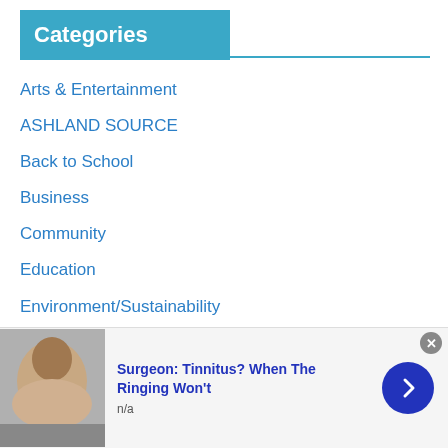Categories
Arts & Entertainment
ASHLAND SOURCE
Back to School
Business
Community
Education
Environment/Sustainability
Family
Food & Drink
Government
[Figure (photo): Advertisement banner: photo of a person, headline 'Surgeon: Tinnitus? When The Ringing Won't', subtext 'n/a', with a blue arrow button and close button.]